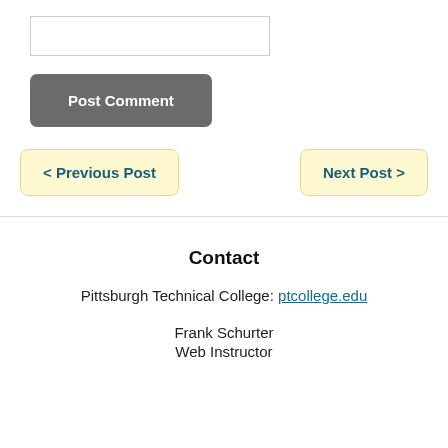[Figure (other): Text input box (comment field)]
Post Comment
< Previous Post
Next Post >
Contact
Pittsburgh Technical College: ptcollege.edu
Frank Schurter
Web Instructor